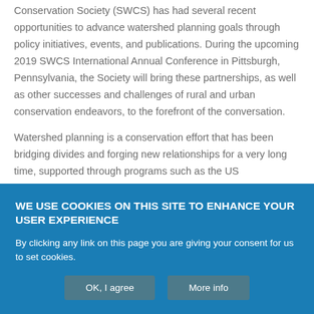Conservation Society (SWCS) has had several recent opportunities to advance watershed planning goals through policy initiatives, events, and publications. During the upcoming 2019 SWCS International Annual Conference in Pittsburgh, Pennsylvania, the Society will bring these partnerships, as well as other successes and challenges of rural and urban conservation endeavors, to the forefront of the conversation.
Watershed planning is a conservation effort that has been bridging divides and forging new relationships for a very long time, supported through programs such as the US Environmental Protection Agency (USEPA) Section 319 Nonpoint Source Management Program.
WE USE COOKIES ON THIS SITE TO ENHANCE YOUR USER EXPERIENCE
By clicking any link on this page you are giving your consent for us to set cookies.